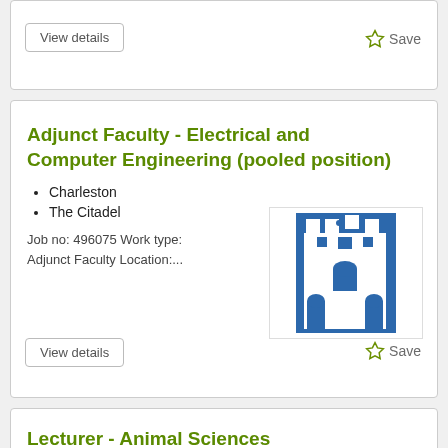View details
Save
Adjunct Faculty - Electrical and Computer Engineering (pooled position)
Charleston
The Citadel
Job no: 496075 Work type: Adjunct Faculty Location:...
[Figure (logo): The Citadel logo - white castle on blue background]
View details
Save
Lecturer - Animal Sciences
Clemson, SC
Clemson University
[Figure (logo): Clemson University logo with orange text]